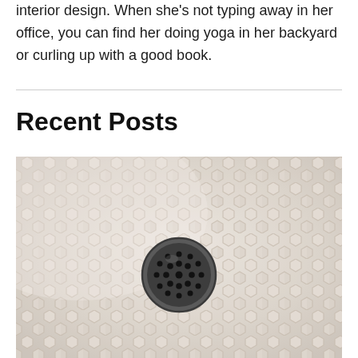interior design. When she's not typing away in her office, you can find her doing yoga in her backyard or curling up with a good book.
Recent Posts
[Figure (photo): Close-up photo of a white hexagonal mosaic tile floor with a round dark metal shower drain in the center]